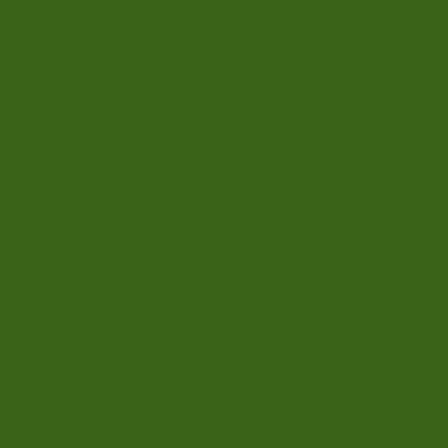[Figure (photo): Large dark green rectangular panel occupying the left portion of the page]
what it termed "cul...
Mika Takagi, an off... Japan's edgier ind... office is staffed by...
"Cool Japan" isn't a... hopes to ramp up i... ongoing one. Such... manufacturing, but... (roughly US$616 b...
What the local gov... two different things...
According to an Oo... believed that autom... 4), "Bon Odori" (a t... cafes (20th). The r... various regions of t...
The voters were ar... slow playback of th... engineered so that... expands when the...